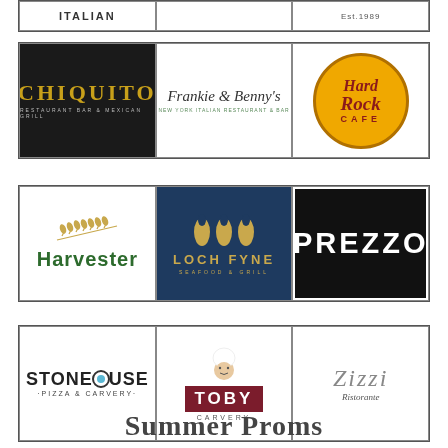[Figure (logo): Partial row of restaurant logos: ITALIAN (partial), and Est.1989]
[Figure (logo): Row of restaurant logos: Chiquito (Restaurant Bar & Mexican Grill), Frankie & Benny's (New York Italian Restaurant & Bar), Hard Rock Cafe]
[Figure (logo): Row of restaurant logos: Harvester, Loch Fyne (Seafood & Grill), Prezzo]
[Figure (logo): Row of restaurant logos: Stonehouse (Pizza & Carvery), Toby Carvery, Zizzi Ristorante]
Summer Proms